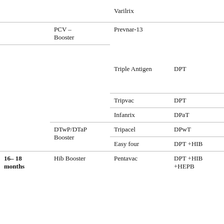| Age | Vaccine Type | Brand Name | Abbreviation |
| --- | --- | --- | --- |
|  |  | Varilrix |  |
|  | PCV – Booster | Prevnar-13 |  |
|  |  | Triple Antigen | DPT |
|  |  | Tripvac | DPT |
|  |  | Infanrix | DPaT |
|  | DTwP/DTaP Booster | Tripacel | DPwT |
|  |  | Easy four | DPT +HIB |
| 16–18 months | Hib Booster | Pentavac | DPT +HIB +HEPB |